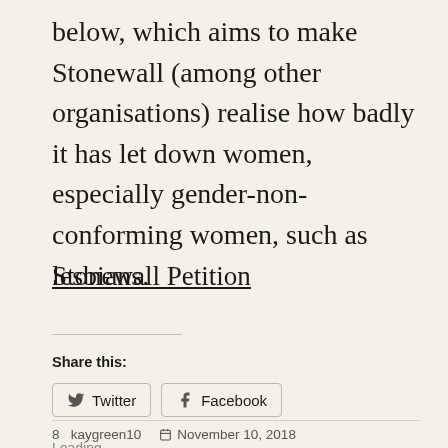below, which aims to make Stonewall (among other organisations) realise how badly it has let down women, especially gender-non-conforming women, such as lesbians.
Stonewall Petition
Share this:
Twitter   Facebook
Loading…
8 kaygreen10   November 10, 2018